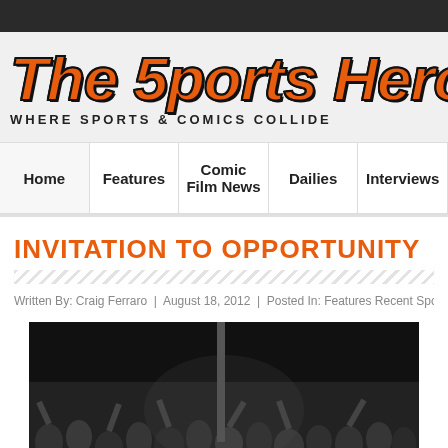The Sports Hero — Where Sports & Comics Collide
[Figure (logo): The Sports Hero website logo with comic-style italic orange and black text reading 'THE SPORTS HERO' and tagline 'WHERE SPORTS & COMICS COLLIDE']
Home | Features | Comic Film News | Dailies | Interviews
INVITATION TO OPPORTUNITY
Written By: Craig Ferraro | August 18, 2012 | Posted In: Features Recent Sports
[Figure (photo): A crowd of sports fans at a night game, dark background with many people visible in the stands raising hands]